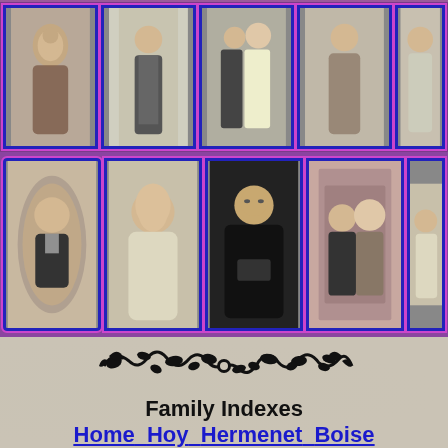[Figure (photo): Top row of vintage family portrait photos in purple-bordered frames]
[Figure (photo): Bottom row of vintage family portrait photos in purple-bordered frames, larger format]
[Figure (illustration): Decorative ornamental flourish/divider in black]
Family Indexes
Home  Hoy  Hermenet  Boise  Shively
Last Up-Date  01/15/2012  09:31:52 AM